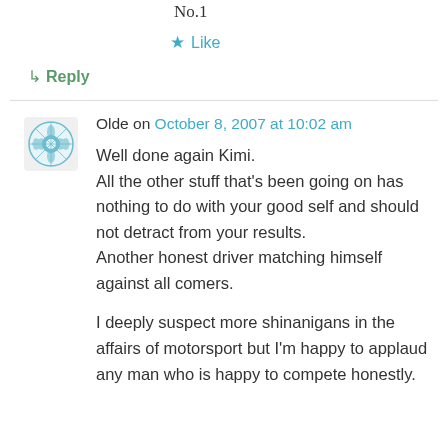No.1
★ Like
↳ Reply
Olde on October 8, 2007 at 10:02 am
Well done again Kimi.
All the other stuff that's been going on has nothing to do with your good self and should not detract from your results.
Another honest driver matching himself against all comers.

I deeply suspect more shinanigans in the affairs of motorsport but I'm happy to applaud any man who is happy to compete honestly.